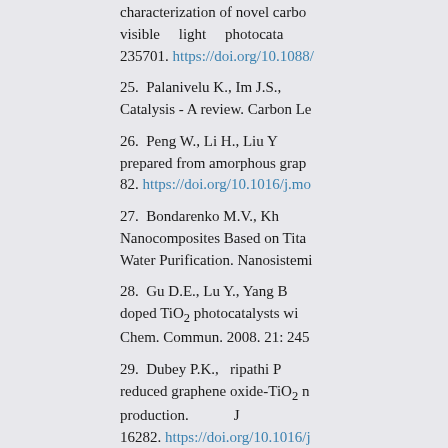characterization of novel carbon ... visible light photocata... 235701. https://doi.org/10.1088/...
25. Palanivelu K., Im J.S., ... Catalysis - A review. Carbon Le...
26. Peng W., Li H., Liu Y. ... prepared from amorphous grap... 82. https://doi.org/10.1016/j.mo...
27. Bondarenko M.V., Kh... Nanocomposites Based on Tita... Water Purification. Nanosistemi...
28. Gu D.E., Lu Y., Yang B. ... doped TiO2 photocatalysts wi... Chem. Commun. 2008. 21: 245...
29. Dubey P.K., Tripathi P... reduced graphene oxide-TiO2 n... production. H... J... 16282. https://doi.org/10.1016/j...
30. Li X., Xiong R., Wei...